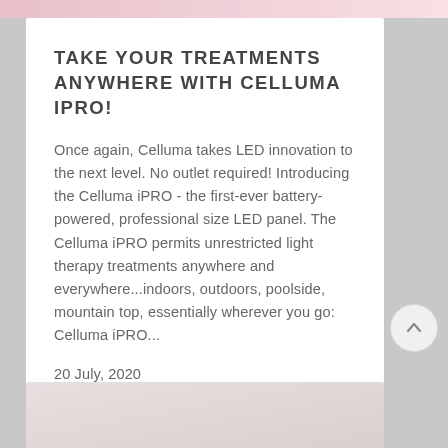TAKE YOUR TREATMENTS ANYWHERE WITH CELLUMA IPRO!
Once again, Celluma takes LED innovation to the next level. No outlet required! Introducing the Celluma iPRO - the first-ever battery-powered, professional size LED panel. The Celluma iPRO permits unrestricted light therapy treatments anywhere and everywhere...indoors, outdoors, poolside, mountain top, essentially wherever you go: Celluma iPRO...
20 July, 2020